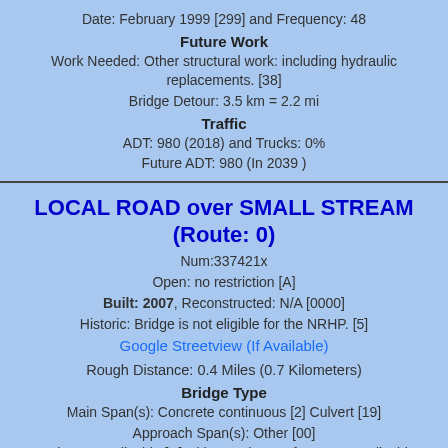Date: February 1999 [299] and Frequency: 48
Future Work
Work Needed: Other structural work: including hydraulic replacements. [38]
Bridge Detour: 3.5 km = 2.2 mi
Traffic
ADT: 980 (2018) and Trucks: 0%
Future ADT: 980 (In 2039 )
LOCAL ROAD over SMALL STREAM (Route: 0)
Num:337421x
Open: no restriction [A]
Built: 2007, Reconstructed: N/A [0000]
Historic: Bridge is not eligible for the NRHP. [5]
Google Streetview (If Available)
Rough Distance: 0.4 Miles (0.7 Kilometers)
Bridge Type
Main Span(s): Concrete continuous [2] Culvert [19]
Approach Span(s): Other [00]
Deck: Not applicable [N] with Wearing Surface: Not applicable